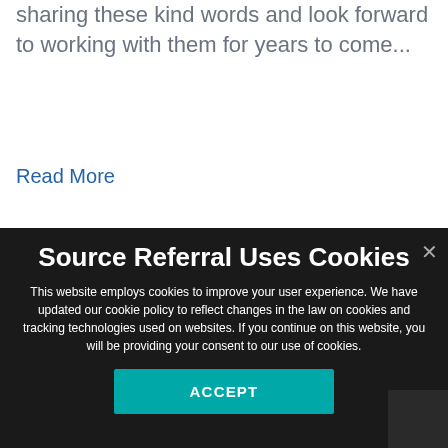sharing these kind words and look forward to working with them for years to come...
Read More
Source Referral Uses Cookies
This website employs cookies to improve your user experience. We have updated our cookie policy to reflect changes in the law on cookies and tracking technologies used on websites. If you continue on this website, you will be providing your consent to our use of cookies.
ACCEPT